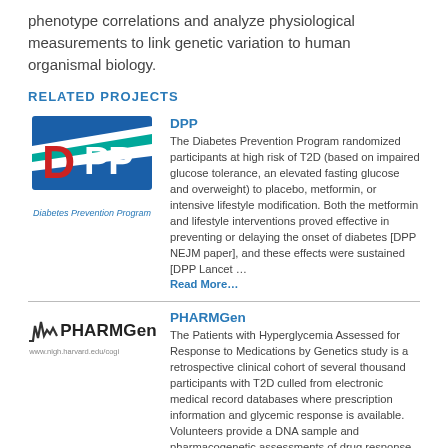phenotype correlations and analyze physiological measurements to link genetic variation to human organismal biology.
RELATED PROJECTS
[Figure (logo): DPP Diabetes Prevention Program logo: blue and red stylized letters DPP on blue background]
DPP
The Diabetes Prevention Program randomized participants at high risk of T2D (based on impaired glucose tolerance, an elevated fasting glucose and overweight) to placebo, metformin, or intensive lifestyle modification. Both the metformin and lifestyle interventions proved effective in preventing or delaying the onset of diabetes [DPP NEJM paper], and these effects were sustained [DPP Lancet … Read More…
[Figure (logo): PHARMGen logo with stylized waveform icon and text PHARMGen with website www.nigh.harvard.edu/cogi]
PHARMGen
The Patients with Hyperglycemia Assessed for Response to Medications by Genetics study is a retrospective clinical cohort of several thousand participants with T2D culled from electronic medical record databases where prescription information and glycemic response is available. Volunteers provide a DNA sample and pharmacogenetic assessments of drug response in a real world setting can be … Read More…
SIGMA MMTT